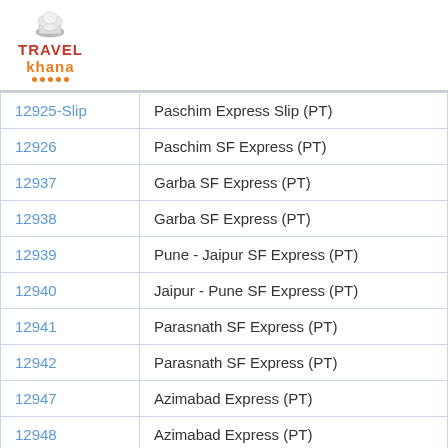[Figure (logo): Travel Khana logo with chef hat icon, red TRAVEL text, orange khana text, orange dots underline]
| 12925-Slip | Paschim Express Slip (PT) |
| 12926 | Paschim SF Express (PT) |
| 12937 | Garba SF Express (PT) |
| 12938 | Garba SF Express (PT) |
| 12939 | Pune - Jaipur SF Express (PT) |
| 12940 | Jaipur - Pune SF Express (PT) |
| 12941 | Parasnath SF Express (PT) |
| 12942 | Parasnath SF Express (PT) |
| 12947 | Azimabad Express (PT) |
| 12948 | Azimabad Express (PT) |